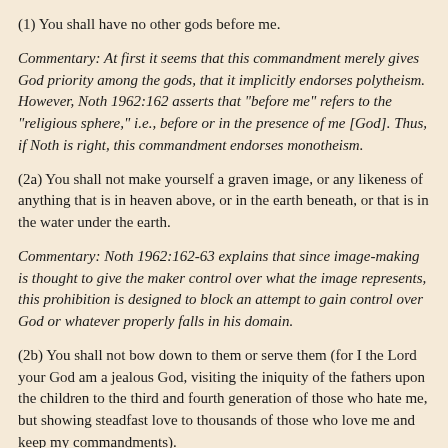(1) You shall have no other gods before me.
Commentary: At first it seems that this commandment merely gives God priority among the gods, that it implicitly endorses polytheism. However, Noth 1962:162 asserts that "before me" refers to the "religious sphere," i.e., before or in the presence of me [God]. Thus, if Noth is right, this commandment endorses monotheism.
(2a) You shall not make yourself a graven image, or any likeness of anything that is in heaven above, or in the earth beneath, or that is in the water under the earth.
Commentary: Noth 1962:162-63 explains that since image-making is thought to give the maker control over what the image represents, this prohibition is designed to block an attempt to gain control over God or whatever properly falls in his domain.
(2b) You shall not bow down to them or serve them (for I the Lord your God am a jealous God, visiting the iniquity of the fathers upon the children to the third and fourth generation of those who hate me, but showing steadfast love to thousands of those who love me and keep my commandments).
Commentary: Noth, 163, says that the explanation of the basic